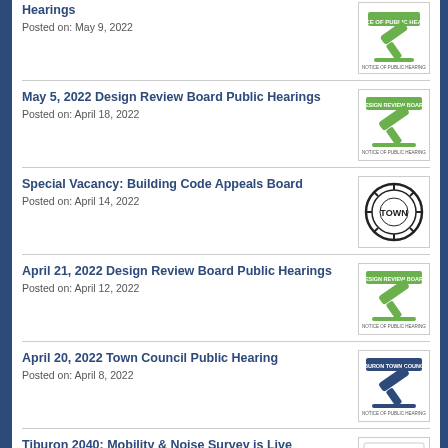Hearings
Posted on: May 9, 2022
May 5, 2022 Design Review Board Public Hearings
Posted on: April 18, 2022
Special Vacancy: Building Code Appeals Board
Posted on: April 14, 2022
April 21, 2022 Design Review Board Public Hearings
Posted on: April 12, 2022
April 20, 2022 Town Council Public Hearing
Posted on: April 8, 2022
Tiburon 2040: Mobility & Noise Survey is Live